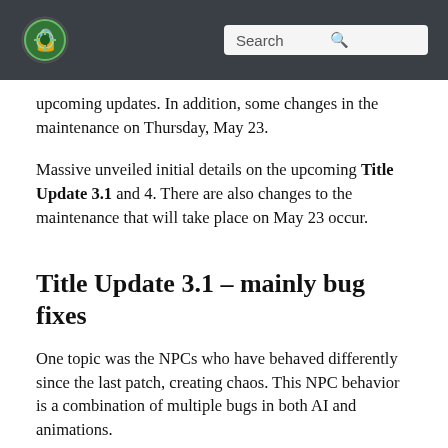[logo] Search
upcoming updates. In addition, some changes in the maintenance on Thursday, May 23.
Massive unveiled initial details on the upcoming Title Update 3.1 and 4. There are also changes to the maintenance that will take place on May 23 occur.
Title Update 3.1 – mainly bug fixes
One topic was the NPCs who have behaved differently since the last patch, creating chaos. This NPC behavior is a combination of multiple bugs in both AI and animations.
These are the previously known fixes: